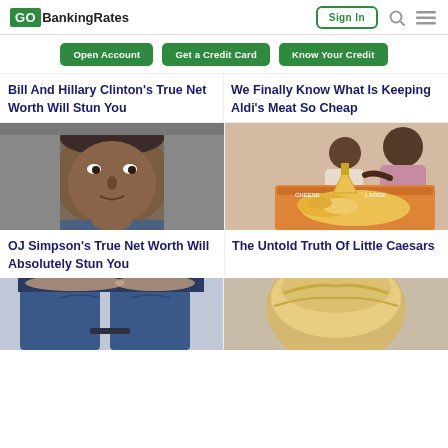GOBankingRates | Sign In
Open Account
Get a Credit Card
Know Your Credit
Bill And Hillary Clinton's True Net Worth Will Stun You
We Finally Know What Is Keeping Aldi's Meat So Cheap
[Figure (photo): Close-up portrait photo of OJ Simpson, a middle-aged Black man with short gray hair, looking directly at camera.]
[Figure (photo): Photo of a mother and child taking a slice from a Little Caesars pizza box.]
OJ Simpson's True Net Worth Will Absolutely Stun You
The Untold Truth Of Little Caesars
[Figure (photo): Partial photo at bottom left, shows jeans/denim clothing item.]
[Figure (photo): Partial photo at bottom right, shows a person with blonde hair from behind.]